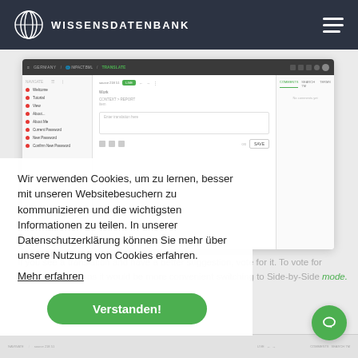WISSENSDATENBANK
[Figure (screenshot): Screenshot of a translation editor interface (Wissensdatenbank/impact.bml/Translate) showing a sidebar with navigation items, a center translation pane with source and target fields, and a right pane with COMMENTS, SEARCH TM, TERMS tabs showing 'No comments yet'.]
Wir verwenden Cookies, um zu lernen, besser mit unseren Websitebesuchern zu kommunizieren und die wichtigsten Informationen zu teilen. In unserer Datenschutzerklärung können Sie mehr über unsere Nutzung von Cookies erfahren.
Mehr erfahren
If you see a translation and have a better suggestion, vote for it. To vote for several translations it would be more convenient switching to Side-by-Side mode.
Verstanden!
[Figure (screenshot): Bottom strip of a translation editor interface, partially visible.]